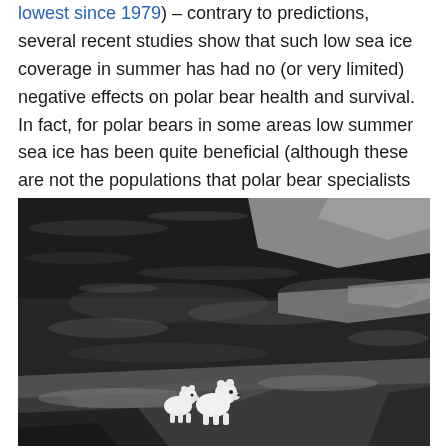lowest since 1979) – contrary to predictions, several recent studies show that such low sea ice coverage in summer has had no (or very limited) negative effects on polar bear health and survival. In fact, for polar bears in some areas low summer sea ice has been quite beneficial (although these are not the populations that polar bear specialists predicted would do better).
[Figure (photo): Black and white photograph of two polar bears standing on sea ice, with broken ice floes and reflective water visible in the background.]